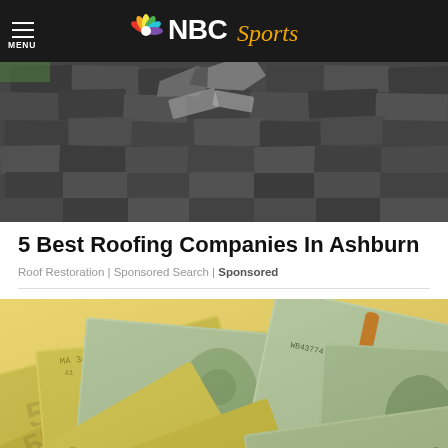NBC Sports
[Figure (photo): Damaged roof shingles, showing broken and lifted asphalt shingles]
5 Best Roofing Companies In Ashburn
Roof Restoration | Sponsored Search | Sponsored
[Figure (photo): Pile of US dollar bills, including $50 and $100 bills, spread out]